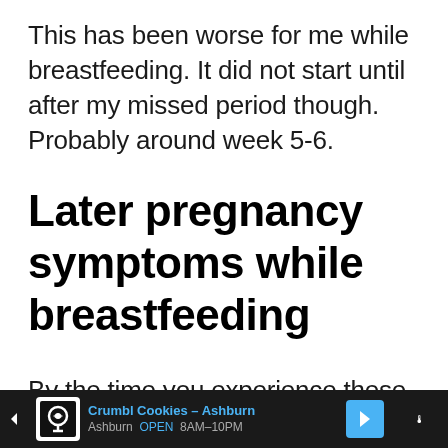This has been worse for me while breastfeeding. It did not start until after my missed period though. Probably around week 5-6.
Later pregnancy symptoms while breastfeeding
By the time you experience these symptoms there is a good chance you w...
[Figure (screenshot): Mobile advertisement banner at bottom of screen for Crumbl Cookies - Ashburn, showing store name, open hours 8AM-10PM, cookie icon, and navigation arrow]